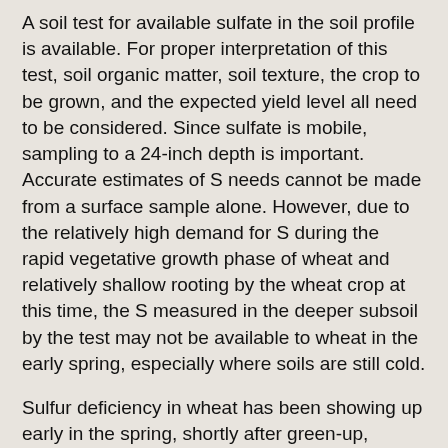A soil test for available sulfate in the soil profile is available. For proper interpretation of this test, soil organic matter, soil texture, the crop to be grown, and the expected yield level all need to be considered. Since sulfate is mobile, sampling to a 24-inch depth is important. Accurate estimates of S needs cannot be made from a surface sample alone. However, due to the relatively high demand for S during the rapid vegetative growth phase of wheat and relatively shallow rooting by the wheat crop at this time, the S measured in the deeper subsoil by the test may not be available to wheat in the early spring, especially where soils are still cold.
Sulfur deficiency in wheat has been showing up early in the spring, shortly after green-up, before organic S is mineralized from soil organic matter, and before wheat roots can grow into the subsoil to utilize sulfate accumulated there. Deficiencies of S are often difficult to identify because the paling in crop color is not always obvious. Wheat plants lacking S also may be stunted, thin-stemmed, and spindly. In the case of wheat and other cereal grains, maturity is delayed. Due to the above mentioned problems fertility is important and